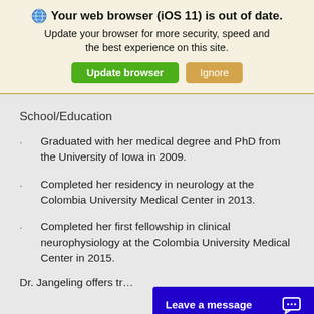Your web browser (iOS 11) is out of date. Update your browser for more security, speed and the best experience on this site. [Update browser] [Ignore]
School/Education
Graduated with her medical degree and PhD from the University of Iowa in 2009.
Completed her residency in neurology at the Colombia University Medical Center in 2013.
Completed her first fellowship in clinical neurophysiology at the Colombia University Medical Center in 2015.
Dr. Jangeling offers tr…